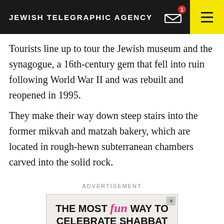JEWISH TELEGRAPHIC AGENCY
Tourists line up to tour the Jewish museum and the synagogue, a 16th-century gem that fell into ruin following World War II and was rebuilt and reopened in 1995.
They make their way down steep stairs into the former mikvah and matzah bakery, which are located in rough-hewn subterranean chambers carved into the solid rock.
ADVERTISEMENT
[Figure (screenshot): Advertisement banner reading 'THE MOST fun WAY TO CELEBRATE SHABBAT' with colorful confetti background]